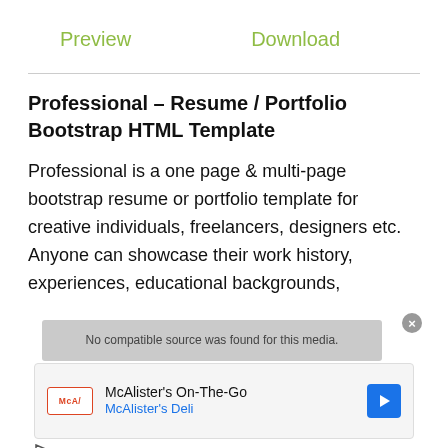Preview    Download
Professional – Resume / Portfolio Bootstrap HTML Template
Professional is a one page & multi-page bootstrap resume or portfolio template for creative individuals, freelancers, designers etc. Anyone can showcase their work history, experiences, educational backgrounds,
[Figure (screenshot): Ad overlay showing McAlister's On-The-Go advertisement with McAlister's Deli logo and navigation arrow, plus a 'No compatible source was found for this media' error overlay with a close button, and play/close icons at bottom.]